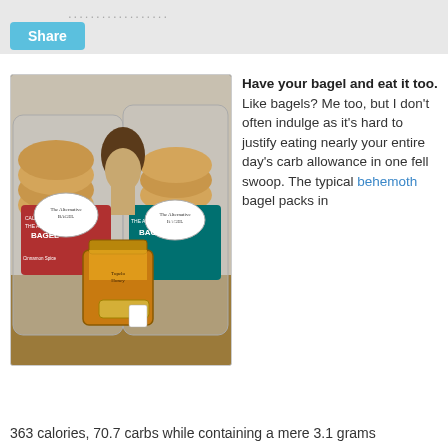Share ..................
[Figure (photo): Photo of two bags of 'The Alternative Bagel' in Cinnamon Spice and another variety, with a small troll doll figure between them and a jar of Tupelo Honey in front, all displayed on a wooden surface.]
Have your bagel and eat it too. Like bagels? Me too, but I don't often indulge as it's hard to justify eating nearly your entire day's carb allowance in one fell swoop. The typical behemoth bagel packs in 363 calories, 70.7 carbs while containing a mere 3.1 grams